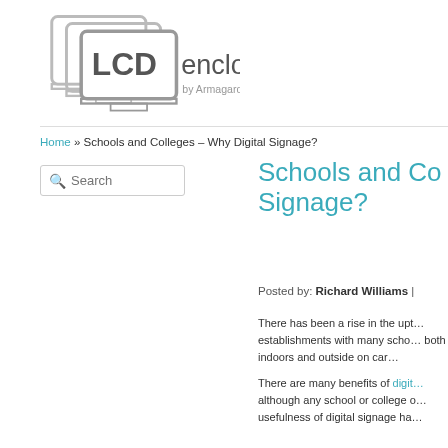[Figure (logo): LCD enclosure by Armagard logo — stacked monitor outlines with 'LCD enclosure by Armagard' text]
Home » Schools and Colleges – Why Digital Signage?
Search
Schools and Colleges – Why Digital Signage?
Posted by: Richard Williams |
There has been a rise in the uptake of digital signage in educational establishments with many schools and colleges installing screens both indoors and outside on campus.
There are many benefits of digital signage although any school or college considering the usefulness of digital signage ha…